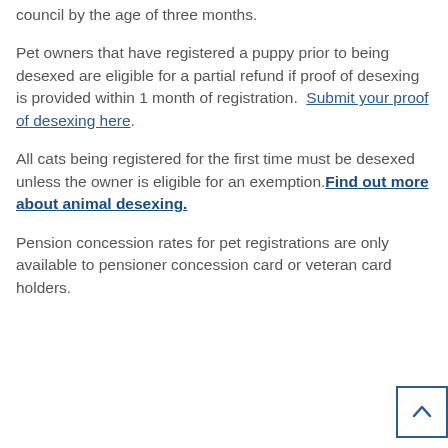council by the age of three months.
Pet owners that have registered a puppy prior to being desexed are eligible for a partial refund if proof of desexing is provided within 1 month of registration.  Submit your proof of desexing here.
All cats being registered for the first time must be desexed unless the owner is eligible for an exemption. Find out more about animal desexing.
Pension concession rates for pet registrations are only available to pensioner concession card or veteran card holders.